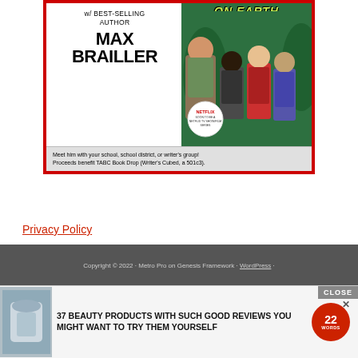[Figure (illustration): Promotional banner for a virtual author visit with best-selling author Max Brailler. Left side shows white background with text 'w/ BEST-SELLING AUTHOR MAX BRAILLER' and note about meeting with school/school district/writer's group, proceeds benefit TABC Book Drop (Writer's Cubed, a 501c3). Right side shows illustrated characters from a book with green background and 'ON EARTH' text at top. A Netflix badge is visible on the right panel.]
Privacy Policy
Copyright © 2022 · Metro Pro on Genesis Framework · WordPress ·
[Figure (infographic): Advertisement banner: '37 BEAUTY PRODUCTS WITH SUCH GOOD REVIEWS YOU MIGHT WANT TO TRY THEM YOURSELF' with a product image on left, red circular badge showing '22 WORDS' on right, and a CLOSE button and X button.]